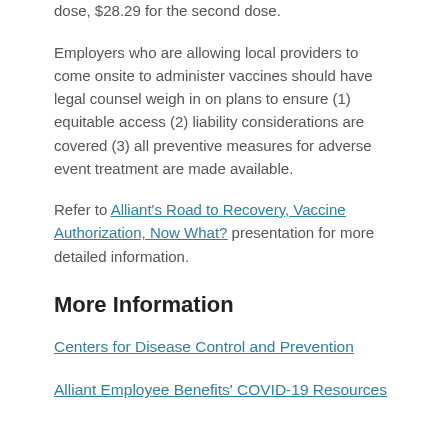dose, $28.29 for the second dose.
Employers who are allowing local providers to come onsite to administer vaccines should have legal counsel weigh in on plans to ensure (1) equitable access (2) liability considerations are covered (3) all preventive measures for adverse event treatment are made available.
Refer to Alliant's Road to Recovery, Vaccine Authorization, Now What? presentation for more detailed information.
More Information
Centers for Disease Control and Prevention
Alliant Employee Benefits' COVID-19 Resources